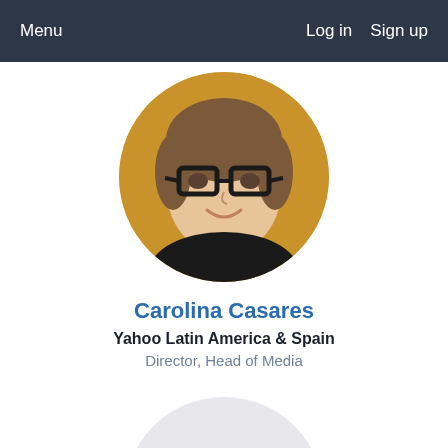Menu   Log in   Sign up
[Figure (photo): Circular profile photo of Carolina Casares, a woman with glasses, smiling, against a warm golden background]
Carolina Casares
Yahoo Latin America & Spain
Director, Head of Media
[Figure (illustration): Circular avatar placeholder with initials SC in gray on a light gray background]